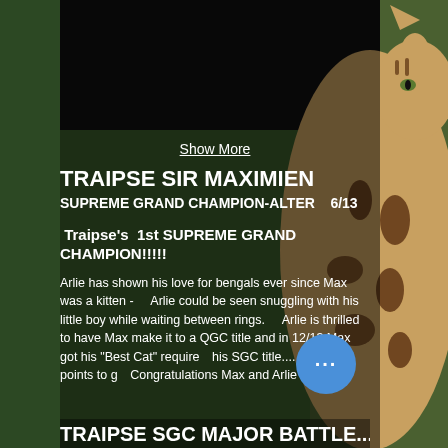[Figure (photo): Background photo of a Bengal cat with spotted/striped markings, outdoors with green foliage. A dark semi-transparent overlay covers the center portion.]
Show More
TRAIPSE SIR MAXIMIEN
SUPREME GRAND CHAMPION-ALTER   6/13
Traipse's  1st SUPREME GRAND CHAMPION!!!!!
Arlie has shown his love for bengals ever since Max was a kitten -     Arlie could be seen snuggling with his little boy while waiting between rings.    Arlie is thrilled to have Max make it to a QGC title and in 12/13 Max got his "Best Cat" requirements for his SGC title....  only 245 points to go....  Congratulations Max and Arlie
TRAIPSE SGC MAJOR BATTLE...